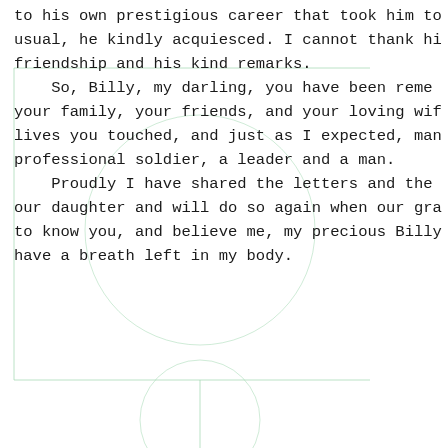to his own prestigious career that took him to usual, he kindly acquiesced. I cannot thank hi friendship and his kind remarks.
    So, Billy, my darling, you have been reme your family, your friends, and your loving wif lives you touched, and just as I expected, man professional soldier, a leader and a man.
    Proudly I have shared the letters and the our daughter and will do so again when our gra to know you, and believe me, my precious Billy have a breath left in my body.